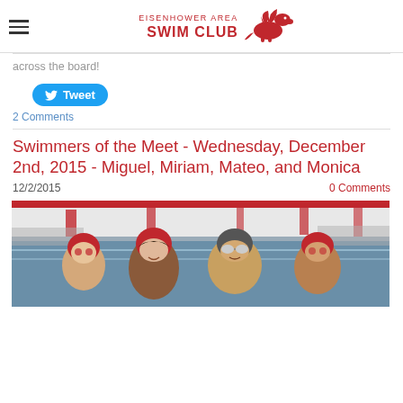Eisenhower Area Swim Club
across the board!
[Figure (other): Tweet button (social media share button with Twitter bird icon)]
2 Comments
Swimmers of the Meet - Wednesday, December 2nd, 2015 - Miguel, Miriam, Mateo, and Monica
12/2/2015
0 Comments
[Figure (photo): Photo of four young swimmers wearing red swim caps at an indoor swimming pool. The swimmers are posing together, some wearing goggles.]